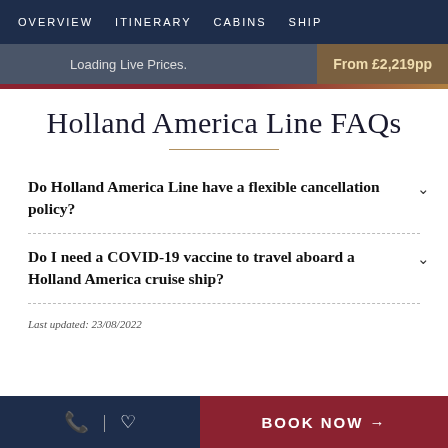OVERVIEW  ITINERARY  CABINS  SHIP
Loading Live Prices.   From £2,219pp
Holland America Line FAQs
Do Holland America Line have a flexible cancellation policy?
Do I need a COVID-19 vaccine to travel aboard a Holland America cruise ship?
Last updated: 23/08/2022
BOOK NOW →